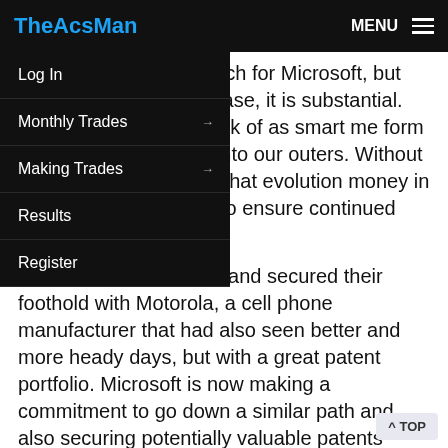TheAcsMan  MENU
Log In
Monthly Trades
Making Trades
Results
Register
…olute terms that's not much for Microsoft, but cost of the Nokia purchase, it is substantial.
…is that what we now think of as smart …me form or another, will evolve into our …outers. Without a strategy to be part of that evolution money in the bank is insufficient to ensure continued relevance.
Google (GOOG) gets it and secured their foothold with Motorola, a cell phone manufacturer that had also seen better and more heady days, but with a great patent portfolio. Microsoft is now making a commitment to go down a similar path and also securing potentially valuable patents along with the manufacturer of 80% of the Windows OS phones on the market.